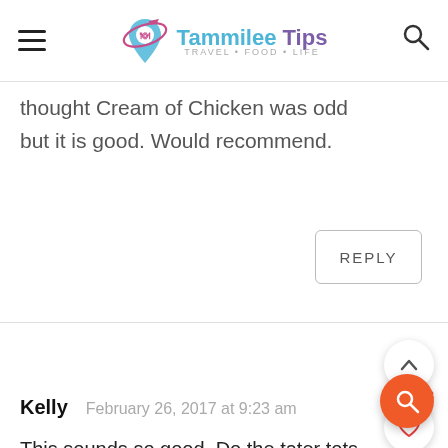Tammilee Tips TRAVEL+FOOD+LIFE
thought Cream of Chicken was odd but it is good. Would recommend.
REPLY
Kelly   February 26, 2017 at 9:23 am
This sounds so good. Do the tater tots get crispy and not soggy from the condensation on the lid?